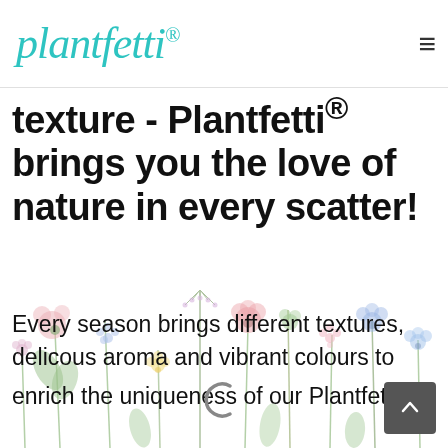plantfetti®
texture - Plantfetti® brings you the love of nature in every scatter!
Every season brings different textures, delicous aroma and vibrant colours to enrich the uniqueness of our Plantfetti®
[Figure (illustration): Decorative watercolor wildflower meadow illustration with various pastel-coloured flowers, stems and leaves as background decoration]